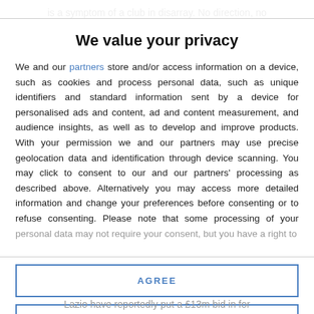is a symptom of a club in disarray. No direction, no
We value your privacy
We and our partners store and/or access information on a device, such as cookies and process personal data, such as unique identifiers and standard information sent by a device for personalised ads and content, ad and content measurement, and audience insights, as well as to develop and improve products. With your permission we and our partners may use precise geolocation data and identification through device scanning. You may click to consent to our and our partners' processing as described above. Alternatively you may access more detailed information and change your preferences before consenting or to refuse consenting. Please note that some processing of your personal data may not require your consent, but you have a right to
AGREE
MORE OPTIONS
Lazio have reportedly put a £13m bid in for